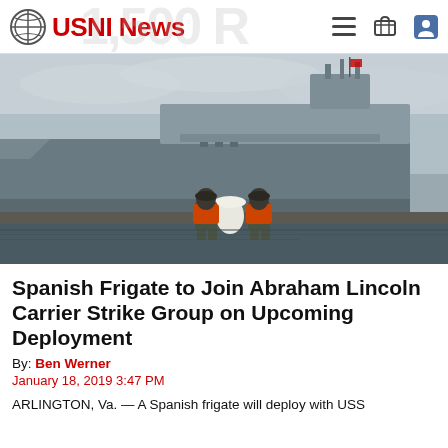USNI News
[Figure (photo): Two sailors in orange life vests standing on a dock looking up at a large grey warship moored alongside, overcast sky in background.]
Spanish Frigate to Join Abraham Lincoln Carrier Strike Group on Upcoming Deployment
By: Ben Werner
January 18, 2019 3:47 PM
ARLINGTON, Va. — A Spanish frigate will deploy with USS